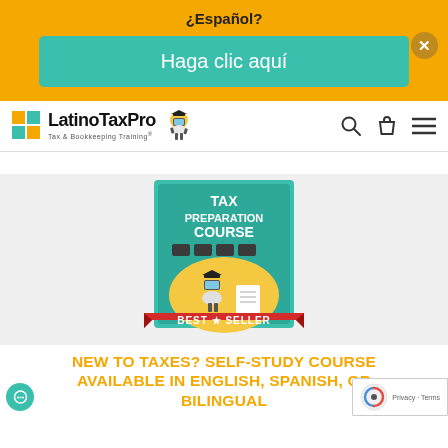¿Español?
Haga clic aquí
[Figure (logo): LatinoTaxPro logo with grid icon, mascot character, and text 'Tax & Bookkeeping Training']
[Figure (photo): Tax Preparation Course book cover with 'BEST SELLER' ribbon banner]
NEW TO TAXES? SELF-STUDY COURSE AVAILABLE IN ENGLISH, SPANISH, OR BILINGUAL